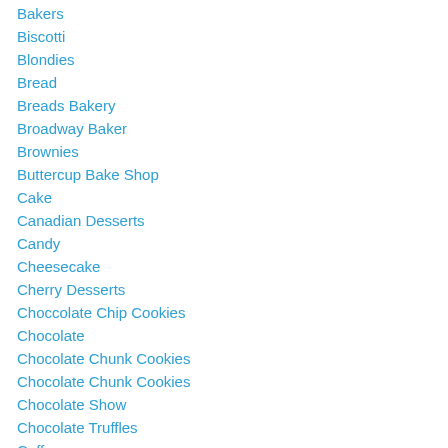Bakers
Biscotti
Blondies
Bread
Breads Bakery
Broadway Baker
Brownies
Buttercup Bake Shop
Cake
Canadian Desserts
Candy
Cheesecake
Cherry Desserts
Choccolate Chip Cookies
Chocolate
Chocolate Chunk Cookies
Chocolate Chunk Cookies
Chocolate Show
Chocolate Truffles
Coffee